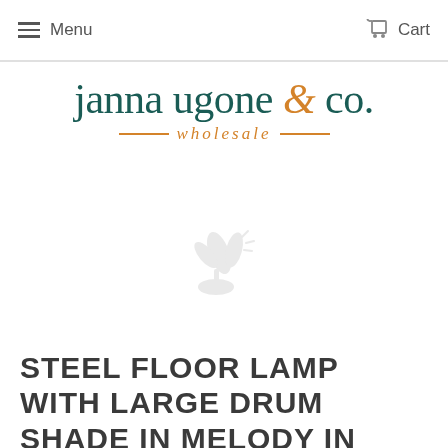Menu   Cart
[Figure (logo): Janna Ugone & Co. wholesale logo — teal serif wordmark with gold ampersand and gold italic wholesale text flanked by horizontal rules]
[Figure (photo): Loading/placeholder image icon — a faint gray image broken icon in the center of the page]
STEEL FLOOR LAMP WITH LARGE DRUM SHADE IN MELODY IN JADE